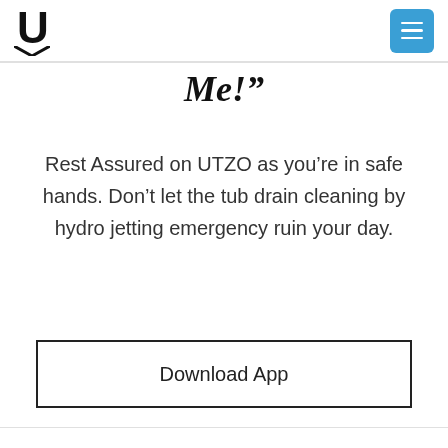UTZO logo and menu button
Me!”
Rest Assured on UTZO as you’re in safe hands. Don’t let the tub drain cleaning by hydro jetting emergency ruin your day.
Download App